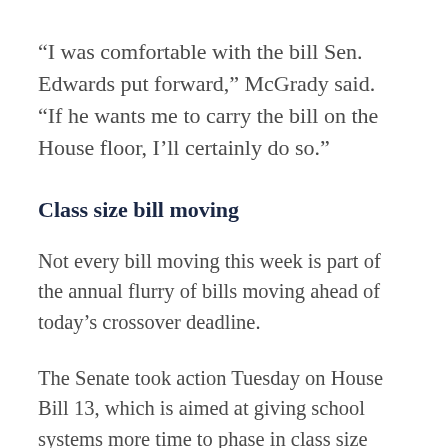“I was comfortable with the bill Sen. Edwards put forward,” McGrady said. “If he wants me to carry the bill on the House floor, I’ll certainly do so.”
Class size bill moving
Not every bill moving this week is part of the annual flurry of bills moving ahead of today’s crossover deadline.
The Senate took action Tuesday on House Bill 13, which is aimed at giving school systems more time to phase in class size